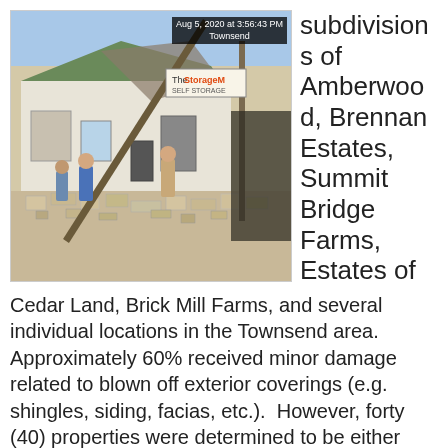[Figure (photo): Photograph of a storm-damaged building with debris, taken on Aug 5, 2020 at 3:56:43 PM in Townsend. A 'The Storage M...' sign is visible. People are standing amid rubble and destroyed structure.]
subdivisions of Amberwood, Brennan Estates, Summit Bridge Farms, Estates of Cedar Land, Brick Mill Farms, and several individual locations in the Townsend area. Approximately 60% received minor damage related to blown off exterior coverings (e.g. shingles, siding, facias, etc.). However, forty (40) properties were determined to be either unsafe for occupancy or had a portion of the structure restricted for use due to limited damage.